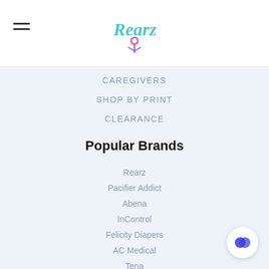[Figure (logo): Rearz brand logo with stylized cursive text and pin icon in teal and purple]
CAREGIVERS
SHOP BY PRINT
CLEARANCE
Popular Brands
Rearz
Pacifier Addict
Abena
InControl
Felicity Diapers
AC Medical
Tena
InControl Disposable Diapers
Nuk
Snappi
View All